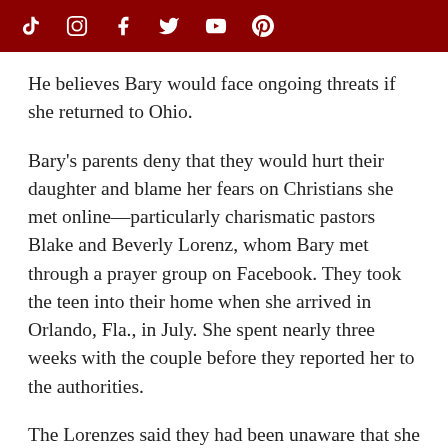[Social media icons: TikTok, Instagram, Facebook, Twitter, YouTube, Pinterest]
He believes Bary would face ongoing threats if she returned to Ohio.
Bary's parents deny that they would hurt their daughter and blame her fears on Christians she met online—particularly charismatic pastors Blake and Beverly Lorenz, whom Bary met through a prayer group on Facebook. They took the teen into their home when she arrived in Orlando, Fla., in July. She spent nearly three weeks with the couple before they reported her to the authorities.
The Lorenzes said they had been unaware that she was listed as a missing person in